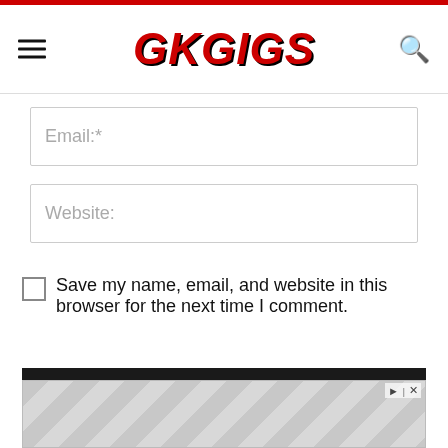GKGIGS
Email:*
Website:
Save my name, email, and website in this browser for the next time I comment.
POST COMMENT
RECENT POSTS
[Figure (other): Advertisement banner with geometric hexagon pattern and close/play controls]